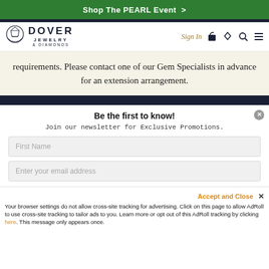Shop The PEARL Event  >
[Figure (logo): Dover Jewelry & Diamonds logo with shield/diamond graphic]
Sign In
requirements. Please contact one of our Gem Specialists in advance for an extension arrangement.
Be the first to know!
Join our newsletter for Exclusive Promotions.
First Name
Enter your email address
Accept and Close ✕
Your browser settings do not allow cross-site tracking for advertising. Click on this page to allow AdRoll to use cross-site tracking to tailor ads to you. Learn more or opt out of this AdRoll tracking by clicking here. This message only appears once.